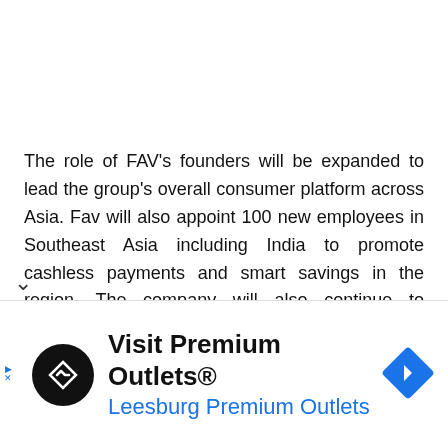The role of FAV's founders will be expanded to lead the group's overall consumer platform across Asia. Fav will also appoint 100 new employees in Southeast Asia including India to promote cashless payments and smart savings in the region. The company will also continue to introduce new smart payment facilities through the FAVE platform so that customers get maximum value enjoyment on every purchase.
[Figure (infographic): Advertisement banner: Visit Premium Outlets® / Leesburg Premium Outlets with logo and navigation icon]